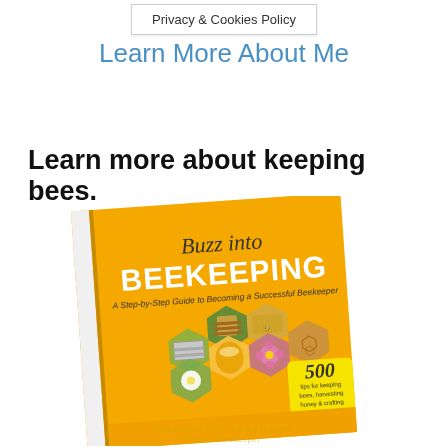Privacy & Cookies Policy
Learn More About Me
Learn more about keeping bees.
[Figure (photo): Book cover of 'Buzz into Beekeeping: A Step-by-Step Guide to Becoming a Successful Beekeeper' by Charlotte Anderson, Master Beekeeper. Features 500 tips for keeping bees, harvesting honey & crafting with beeswax. Cover shows hexagonal photo collage of bees, hives, flowers, and honey.]
CHARLOTTE ANDERSON Master Beekeeper